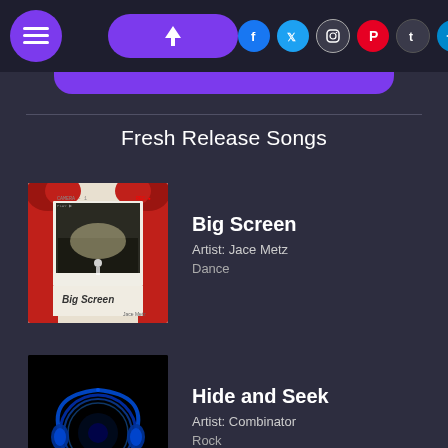Navigation bar with hamburger menu, upload button, Facebook, Twitter, Instagram, Pinterest, Tumblr, Telegram icons
Fresh Release Songs
[Figure (illustration): Album art for Big Screen by Jace Metz: polaroid-style photo showing a theater with red curtains and audience, handwritten 'BIG SCREEN' and 'JACE METZ' text at bottom]
Big Screen
Artist: Jace Metz
Dance
[Figure (illustration): Album art for Hide and Seek by Combinator: dark black background with blue glowing circular headphones or ring shape]
Hide and Seek
Artist: Combinator
Rock